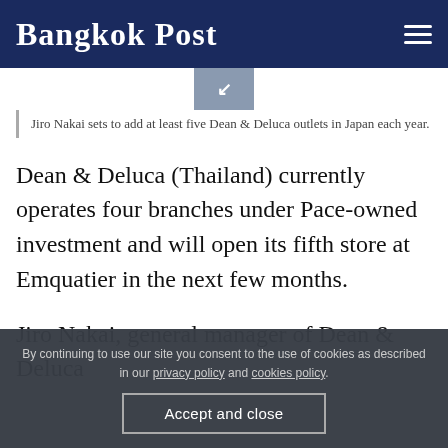Bangkok Post
[Figure (photo): Thumbnail image with collapse/expand arrow icon]
Jiro Nakai sets to add at least five Dean & Deluca outlets in Japan each year.
Dean & Deluca (Thailand) currently operates four branches under Pace-owned investment and will open its fifth store at Emquatier in the next few months.
Jiro Nakai, general manager of Dean & Deluca
By continuing to use our site you consent to the use of cookies as described in our privacy policy and cookies policy.
Accept and close